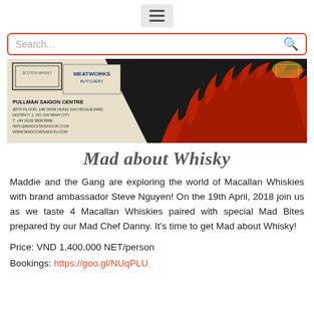≡ (hamburger menu icon)
[Figure (screenshot): Search bar with red/orange border and search icon]
[Figure (photo): Banner image showing Meatworks Butchery logo, Pullman Saigon Centre address details, and flames with whisky glass on dark background]
Mad about Whisky
Maddie and the Gang are exploring the world of Macallan Whiskies with brand ambassador Steve Nguyen! On the 19th April, 2018 join us as we taste 4 Macallan Whiskies paired with special Mad Bites prepared by our Mad Chef Danny. It's time to get Mad about Whisky!
Price: VND 1,400,000 NET/person
Bookings: https://goo.gl/NUqPLU